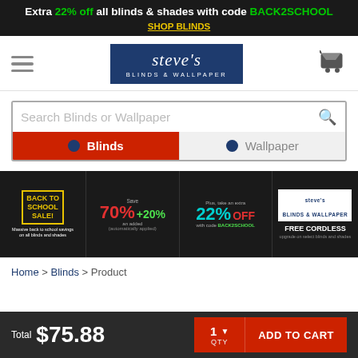Extra 22% off all blinds & shades with code BACK2SCHOOL
SHOP BLINDS
[Figure (logo): Steve's Blinds & Wallpaper logo on dark blue background]
Search Blinds or Wallpaper
Blinds | Wallpaper (search tabs)
[Figure (infographic): Back to School Sale promo banner: Save 70% + 20% (automatically applied), Plus take an extra 22% OFF with code BACK2SCHOOL, FREE CORDLESS upgrade on select blinds and shades]
Home > Blinds > Product
Total $75.88  1 QTY  ADD TO CART